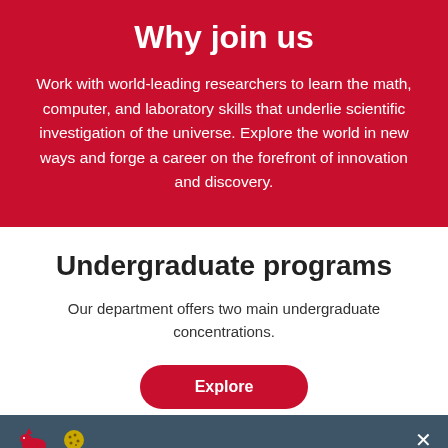Why join us
Work with world-leading researchers to learn the math, computer, and laboratory skills that underlie scientific investigation of the universe. Explore the world in new ways and forge a career on the forefront of innovation and discovery.
Undergraduate programs
Our department offers two main undergraduate concentrations.
Explore
[Figure (illustration): Dark teal/navy bar at the bottom with a red dinosaur icon and a gear/cookie icon on the left, and a white X close button on the right.]